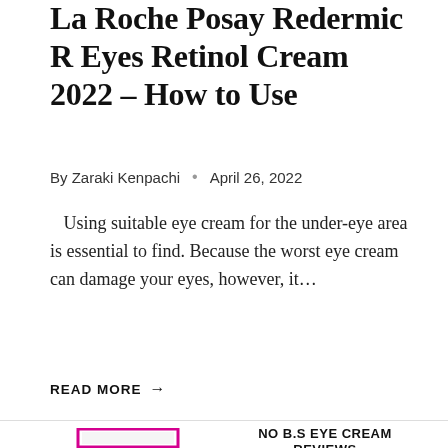La Roche Posay Redermic R Eyes Retinol Cream 2022 – How to Use
By Zaraki Kenpachi • April 26, 2022
Using suitable eye cream for the under-eye area is essential to find. Because the worst eye cream can damage your eyes, however, it…
READ MORE →
[Figure (photo): Product image of an eye cream box with magenta/pink border, partially visible at bottom of page, next to 'NO B.S EYE CREAM REVIEWS' heading with 'Caffeine Eye Cream' subtitle in pink]